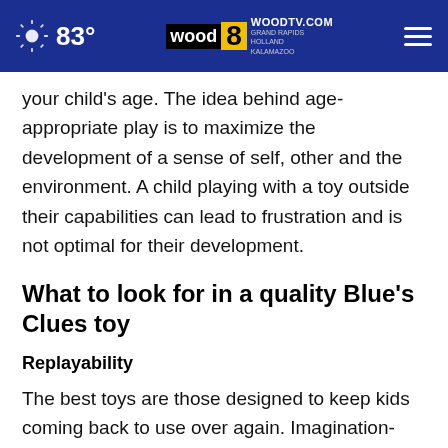83° WOODTV.COM GRAND RAPIDS HOLLAND KALAMAZOO
your child's age. The idea behind age-appropriate play is to maximize the development of a sense of self, other and the environment. A child playing with a toy outside their capabilities can lead to frustration and is not optimal for their development.
What to look for in a quality Blue's Clues toy
Replayability
The best toys are those designed to keep kids coming back to use over again. Imagination-based toys are a go-to for this, because the way in which they're played with is entirely up to the child. Even toys that have